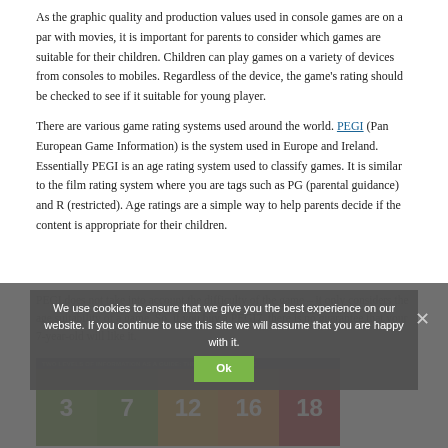As the graphic quality and production values used in console games are on a par with movies, it is important for parents to consider which games are suitable for their children. Children can play games on a variety of devices from consoles to mobiles. Regardless of the device, the game's rating should be checked to see if it suitable for young player.
There are various game rating systems used around the world. PEGI (Pan European Game Information) is the system used in Europe and Ireland. Essentially PEGI is an age rating system used to classify games. It is similar to the film rating system where you are tags such as PG (parental guidance) and R (restricted). Age ratings are a simple way to help parents decide if the content is appropriate for their children.
PEGI does not take into account the difficulty of the game – it only considers the age suitability of a game. So, if you buy a PEGI7, there is no guarantee that your 7-year-old will like it.
We use cookies to ensure that we give you the best experience on our website. If you continue to use this site we will assume that you are happy with it.
[Figure (infographic): PEGI age labels infographic showing two levels of information as a guide: the PEGI age labels 3, 7, 12, 16, 18 on colored backgrounds]